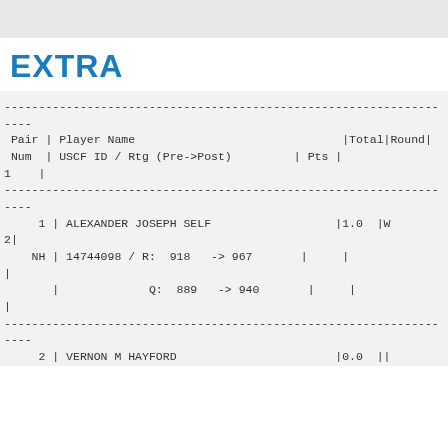EXTRA
| Pair Num | Player Name | USCF ID / Rtg (Pre->Post) | Pts | Total | Round | 1 |
| --- | --- | --- | --- | --- | --- | --- |
| 1 | ALEXANDER JOSEPH SELF | 14744098 / R: 918 -> 967 | 1.0 |  | W 2 |  |
|  |  | Q: 889 -> 940 |  |  |  |  |
| 2 | VERNON M HAYFORD |  | 0.0 |  |  |  |